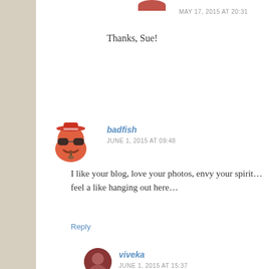MAY 17, 2015 AT 20:31
Thanks, Sue!
badfish
JUNE 1, 2015 AT 09:48
I like your blog, love your photos, envy your spirit… feel a like hanging out here…
Reply
viveka
JUNE 1, 2015 AT 15:37
Wow, that was a lot of nice things to take i